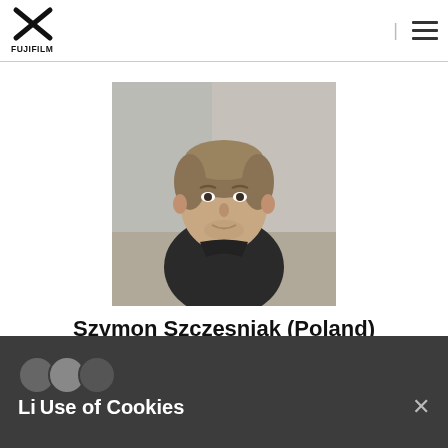Fujifilm logo and navigation menu
[Figure (photo): Headshot photo of Szymon Szczesniak, a young man with light brown hair and a beard, wearing a dark t-shirt, photographed against a blurred indoor background.]
Szymon Szczesniak (Poland)
Szymon Szczesniak was born in 1975 in Poland, earned a Bachelor Degree of Photography from the Institute for Creative Photography (ITF) in Opava, Czech Republic in 2004 and Master Degree in 2012. He is mainly a commercial photographer working for advertising agencies and most remarkable titles on Polish magazine market. From
Use of Cookies